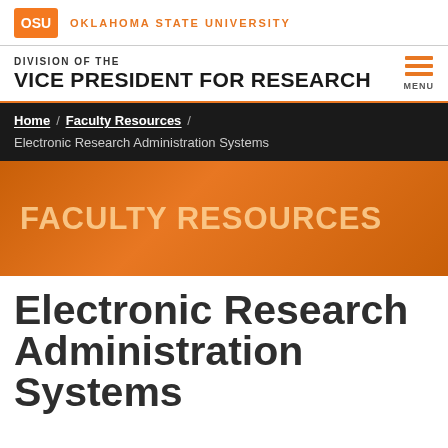OSU OKLAHOMA STATE UNIVERSITY
DIVISION OF THE
VICE PRESIDENT FOR RESEARCH
Home / Faculty Resources / Electronic Research Administration Systems
FACULTY RESOURCES
Electronic Research Administration Systems